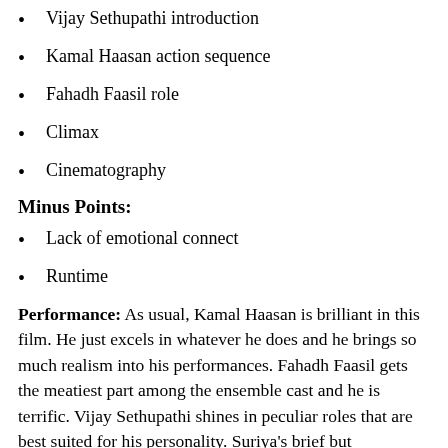Vijay Sethupathi introduction
Kamal Haasan action sequence
Fahadh Faasil role
Climax
Cinematography
Minus Points:
Lack of emotional connect
Runtime
Performance: As usual, Kamal Haasan is brilliant in this film. He just excels in whatever he does and he brings so much realism into his performances. Fahadh Faasil gets the meatiest part among the ensemble cast and he is  terrific. Vijay Sethupathi shines in peculiar roles that are best suited for his personality. Suriya's brief but